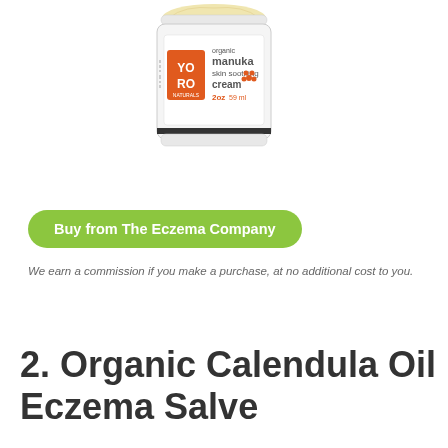[Figure (photo): A white jar of YO RO Naturals organic manuka skin soothing cream, 2oz / 59ml, with an orange square logo and flower design on the label, cream product visible at the top of the open jar.]
Buy from The Eczema Company
We earn a commission if you make a purchase, at no additional cost to you.
2. Organic Calendula Oil Eczema Salve